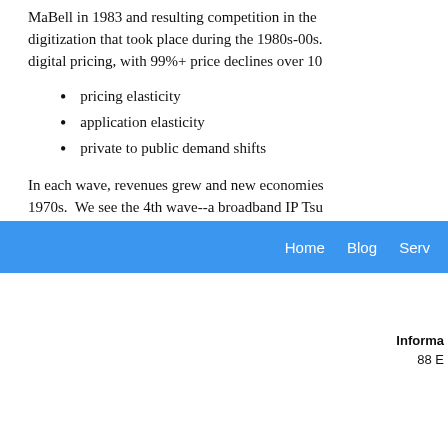MaBell in 1983 and resulting competition in the digitization that took place during the 1980s-00s. digital pricing, with 99%+ price declines over 10
pricing elasticity
application elasticity
private to public demand shifts
In each wave, revenues grew and new economies 1970s. We see the 4th wave--a broadband IP Tsu traditional "analog" business models (health, gov resembling the 3 prior waves. IVP uses the bluep and demand from those first 3 waves to assist cli
Home  Blog  Serv
Informa 88 E